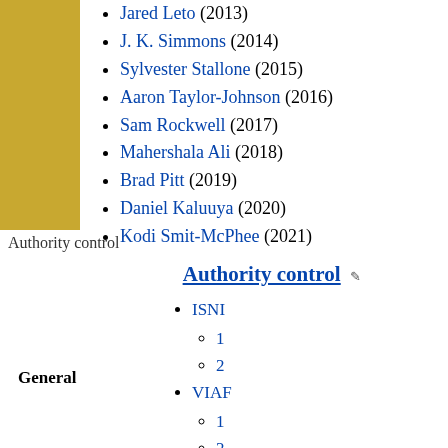Jared Leto (2013)
J. K. Simmons (2014)
Sylvester Stallone (2015)
Aaron Taylor-Johnson (2016)
Sam Rockwell (2017)
Mahershala Ali (2018)
Brad Pitt (2019)
Daniel Kaluuya (2020)
Kodi Smit-McPhee (2021)
Authority control
Authority control
ISNI
1
2
VIAF
1
2
WorldCat
General
Norway
Spain
France (data)
Catalonia
Germany